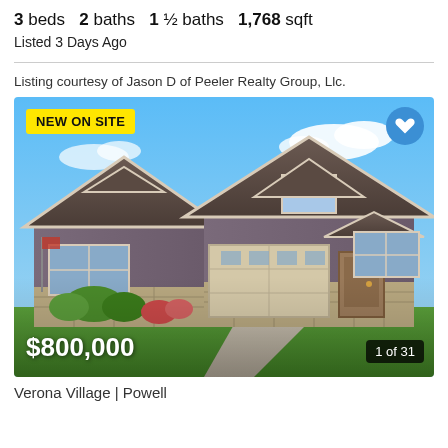3 beds  2 baths  1 ½ baths  1,768 sqft
Listed 3 Days Ago
Listing courtesy of Jason D of Peeler Realty Group, Llc.
[Figure (photo): Exterior photo of a craftsman-style home with gray siding, stone accents, two-car garage, and landscaping. Shows NEW ON SITE badge, heart/favorites button, price $800,000, and photo counter 1 of 31.]
Verona Village | Powell